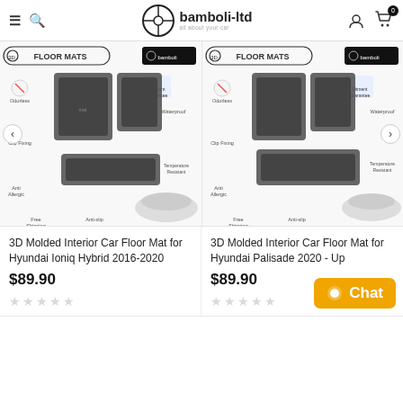bamboli-ltd — all about your car
[Figure (screenshot): 3D floor mats product image for Hyundai Ioniq Hybrid 2016-2020 with feature icons: Odorless, Clip Fixing, Anti Allergic, Fitment guarantee, Waterproof, Temperature Resistant, Free Shipping, Anti-slip]
[Figure (screenshot): 3D floor mats product image for Hyundai Palisade 2020-Up with feature icons: Odorless, Clip Fixing, Anti Allergic, Fitment guarantee, Waterproof, Temperature Resistant, Free Shipping, Anti-slip]
3D Molded Interior Car Floor Mat for Hyundai Ioniq Hybrid 2016-2020
$89.90
3D Molded Interior Car Floor Mat for Hyundai Palisade 2020 - Up
$89.90